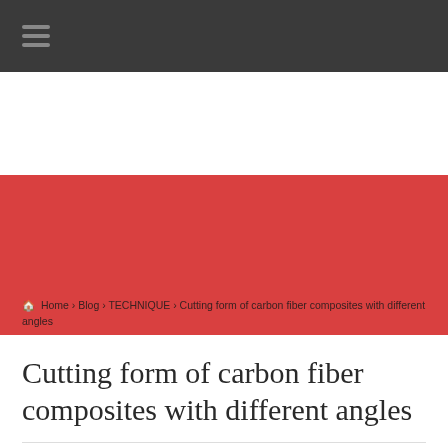☰ (navigation menu icon)
🏠 Home › Blog › TECHNIQUE › Cutting form of carbon fiber composites with different angles
Cutting form of carbon fiber composites with different angles
TECHNIQUE